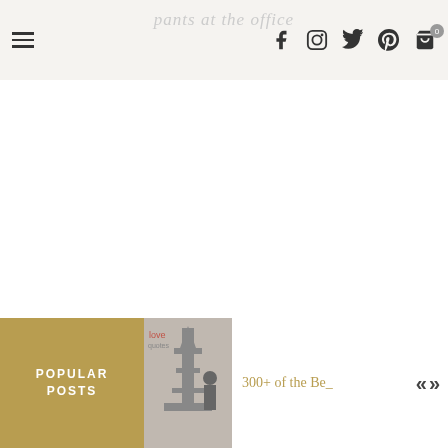pants at the office
[Figure (screenshot): Website header with hamburger menu, site title 'pants at the office', and social media icons (Facebook, Instagram, Twitter, Pinterest, Cart with badge 0)]
[Figure (photo): Thumbnail image showing Eiffel Tower with a person, black and white, with text overlay 'quotes']
POPULAR POSTS
300+ of the Be_